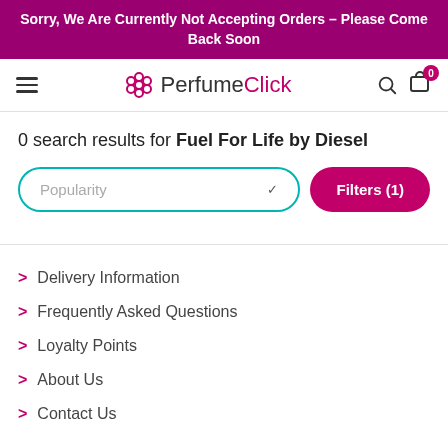Sorry, We Are Currently Not Accepting Orders – Please Come Back Soon
[Figure (logo): PerfumeClick logo with flower icon, hamburger menu, search icon, and cart icon with badge showing 0]
0 search results for Fuel For Life by Diesel
Popularity (dropdown) | Filters (1) button
Delivery Information
Frequently Asked Questions
Loyalty Points
About Us
Contact Us